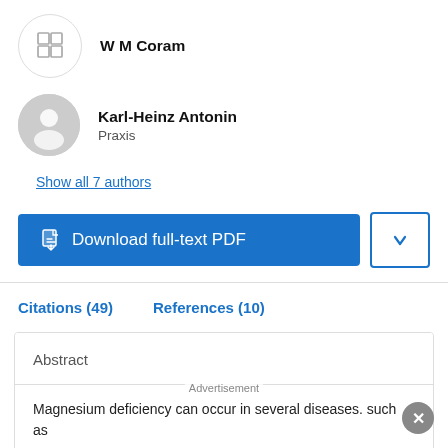W M Coram
Karl-Heinz Antonin
Praxis
Show all 7 authors
Download full-text PDF
Citations (49)    References (10)
Abstract
Magnesium deficiency can occur in several diseases. such as